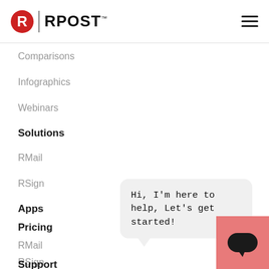RPOST
Comparisons
Infographics
Webinars
Solutions
RMail
RSign
Apps
Pricing
RMail
RSign
Support
User Support
Hi, I'm here to help, Let's get started!
[Figure (illustration): Pink chat/support button icon with speech bubble symbol]